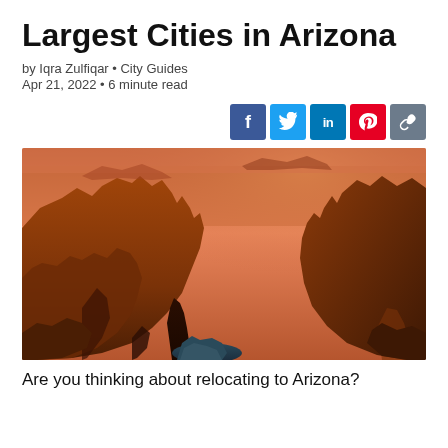Largest Cities in Arizona
by Iqra Zulfiqar • City Guides
Apr 21, 2022 • 6 minute read
[Figure (other): Social sharing buttons: Facebook (blue), Twitter (light blue), LinkedIn (blue), Pinterest (red), link/share (grey-blue)]
[Figure (photo): Aerial panoramic photo of the Grand Canyon at sunset, showing dramatic red and orange canyon walls with a river winding through the canyon floor below.]
Are you thinking about relocating to Arizona?